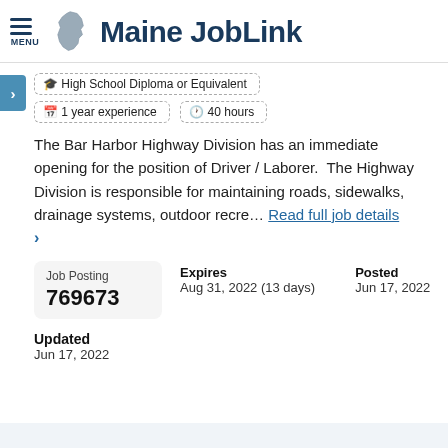Maine JobLink
High School Diploma or Equivalent
1 year experience   40 hours
The Bar Harbor Highway Division has an immediate opening for the position of Driver / Laborer.  The Highway Division is responsible for maintaining roads, sidewalks, drainage systems, outdoor recre… Read full job details
Job Posting 769673
Expires Aug 31, 2022 (13 days)
Posted Jun 17, 2022
Updated Jun 17, 2022